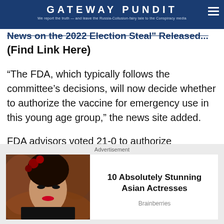GATEWAY PUNDIT — We report the truth — and leave the Russia-Collusion-fairy tale to the Conspiracy media
(Find Link Here)
“The FDA, which typically follows the committee’s decisions, will now decide whether to authorize the vaccine for emergency use in this young age group,” the news site added.
FDA advisors voted 21-0 to authorize Moderna’s vaccine for children 6 months old to 5 years old.
[Figure (photo): Advertisement photo of an Asian woman with dark hair decorated with red roses, wearing dramatic makeup with red lips]
10 Absolutely Stunning Asian Actresses
Brainberries